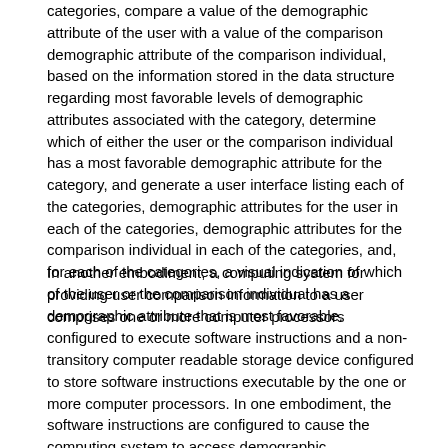categories, compare a value of the demographic attribute of the user with a value of the comparison demographic attribute of the comparison individual, based on the information stored in the data structure regarding most favorable levels of demographic attributes associated with the category, determine which of either the user or the comparison individual has a most favorable demographic attribute for the category, and generate a user interface listing each of the categories, demographic attributes for the user in each of the categories, demographic attributes for the comparison individual in each of the categories, and, for each of the categories, a visual indication of which of the user or the comparison individual has a demographic attribute that is most favorable.
In another embodiment, a computing system for providing user comparison information to a user comprises one or more computer processors configured to execute software instructions and a non-transitory computer readable storage device configured to store software instructions executable by the one or more computer processors. In one embodiment, the software instructions are configured to cause the computing system to access demographic